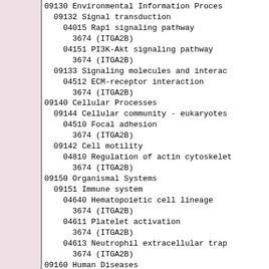09130 Environmental Information Proce...
  09132 Signal transduction
    04015 Rap1 signaling pathway
      3674 (ITGA2B)
    04151 PI3K-Akt signaling pathway
      3674 (ITGA2B)
  09133 Signaling molecules and interac...
    04512 ECM-receptor interaction
      3674 (ITGA2B)
09140 Cellular Processes
  09144 Cellular community - eukaryotes
    04510 Focal adhesion
      3674 (ITGA2B)
  09142 Cell motility
    04810 Regulation of actin cytoskelet...
      3674 (ITGA2B)
09150 Organismal Systems
  09151 Immune system
    04640 Hematopoietic cell lineage
      3674 (ITGA2B)
    04611 Platelet activation
      3674 (ITGA2B)
    04613 Neutrophil extracellular trap...
      3674 (ITGA2B)
09160 Human Diseases
  09161 Cancer: overview
    05200 Pathways in cancer
      3674 (ITGA2B)
  09162 Cancer: specific types